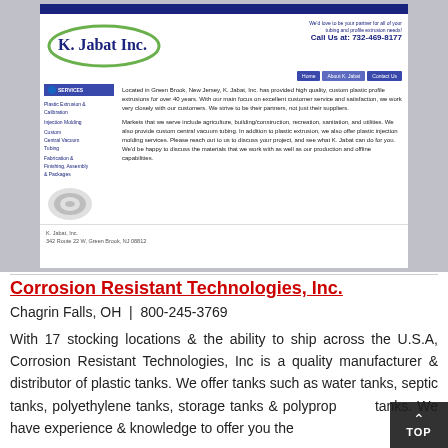[Figure (screenshot): Screenshot of K. Jabat Inc. website showing logo with green oval, phone number 732-469-8177, navigation bar, services sidebar, and company description text about plastic profile extrusions]
Corrosion Resistant Technologies, Inc.
Chagrin Falls, OH  |  800-245-3769
With 17 stocking locations & the ability to ship across the U.S.A, Corrosion Resistant Technologies, Inc is a quality manufacturer & distributor of plastic tanks. We offer tanks such as water tanks, septic tanks, polyethylene tanks, storage tanks & polypropylene tanks. We have experience & knowledge to offer you the